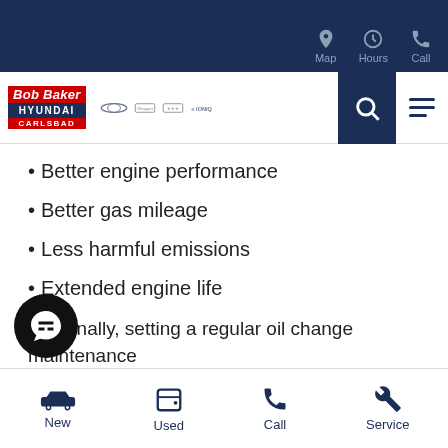[Figure (screenshot): Bob Baker Hyundai Carlsbad website header with navigation bar showing Map, Hours, Call icons, logo, brand partner logos, search button, and hamburger menu]
Better engine performance
Better gas mileage
Less harmful emissions
Extended engine life
And finally, setting a regular oil change maintenance ule can serve as a benchmark for when other
[Figure (other): Bottom navigation bar with New, Used, Call, Service options and chat bubble icon]
New
Used
Call
Service